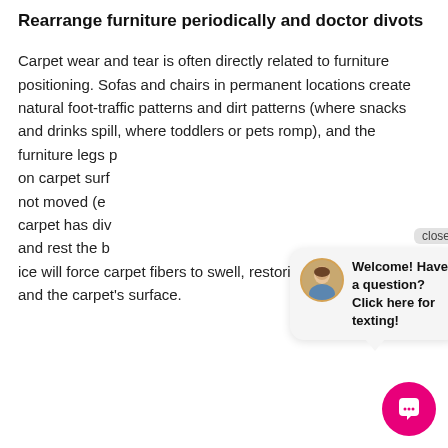Rearrange furniture periodically and doctor divots
Carpet wear and tear is often directly related to furniture positioning. Sofas and chairs in permanent locations create natural foot-traffic patterns and dirt patterns (where snacks and drinks spill, where toddlers or pets romp), and the furniture legs p on carpet surf not moved (e carpet has div and rest the b ice will force carpet fibers to swell, restoring their resiliency and the carpet's surface.
[Figure (screenshot): Chat popup widget with avatar photo of a woman, text 'Welcome! Have a question? Click here for texting!', a close button, and a pink circular chat icon button at bottom right.]